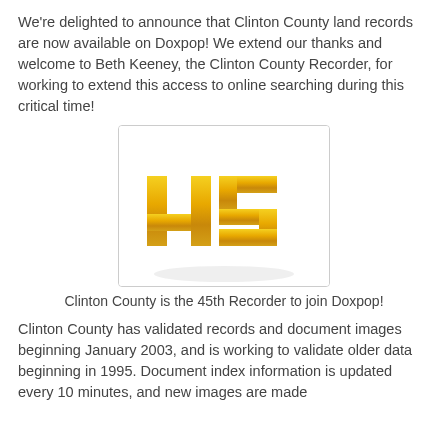We're delighted to announce that Clinton County land records are now available on Doxpop! We extend our thanks and welcome to Beth Keeney, the Clinton County Recorder, for working to extend this access to online searching during this critical time!
[Figure (photo): Gold 3D number 45 on white background]
Clinton County is the 45th Recorder to join Doxpop!
Clinton County has validated records and document images beginning January 2003, and is working to validate older data beginning in 1995. Document index information is updated every 10 minutes, and new images are made